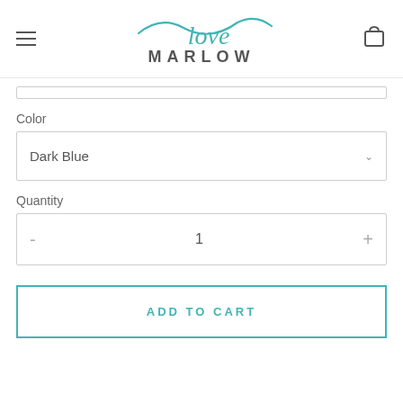Love Marlow
Color
Dark Blue
Quantity
- 1 +
ADD TO CART